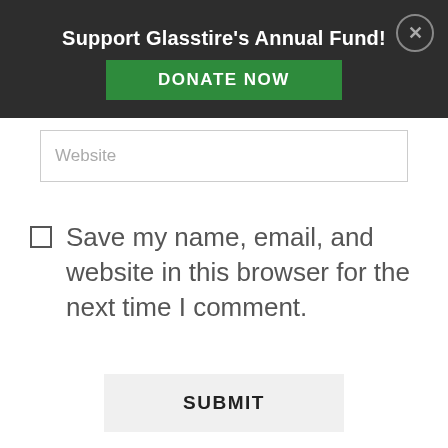Support Glasstire's Annual Fund!
DONATE NOW
Website
Save my name, email, and website in this browser for the next time I comment.
SUBMIT
[Figure (map): Partial outline map with location pin icons]